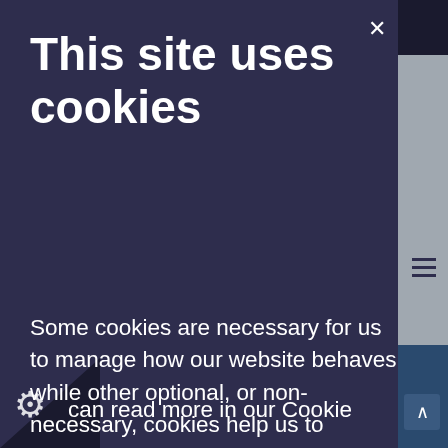This site uses cookies
Some cookies are necessary for us to manage how our website behaves while other optional, or non-necessary, cookies help us to analyse website usage or market to you on other platforms such as Facebook. You can Accept All or Reject All optional cookies or control individual cookie types below.
can read more in our Cookie